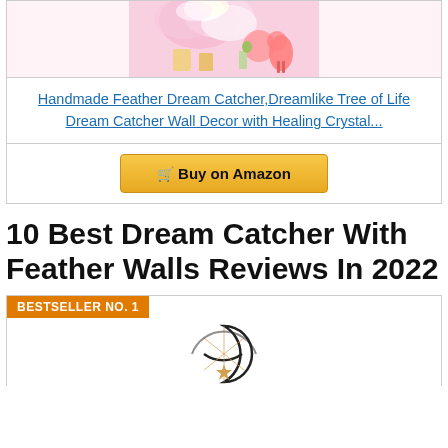[Figure (photo): Pink themed decorative product image at top of card]
Handmade Feather Dream Catcher,Dreamlike Tree of Life Dream Catcher Wall Decor with Healing Crystal...
Buy on Amazon
10 Best Dream Catcher With Feather Walls Reviews In 2022
BESTSELLER NO. 1
[Figure (photo): Dream catcher product image showing moon and star design]